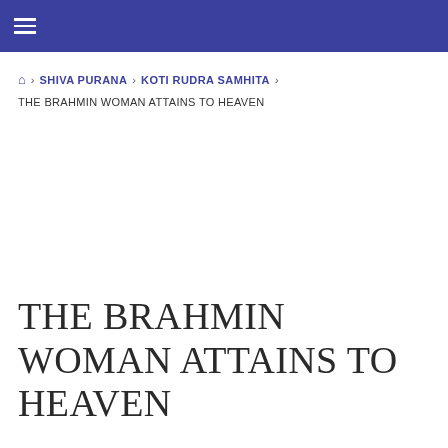≡
🏠 › SHIVA PURANA › KOTI RUDRA SAMHITA › THE BRAHMIN WOMAN ATTAINS TO HEAVEN
THE BRAHMIN WOMAN ATTAINS TO HEAVEN